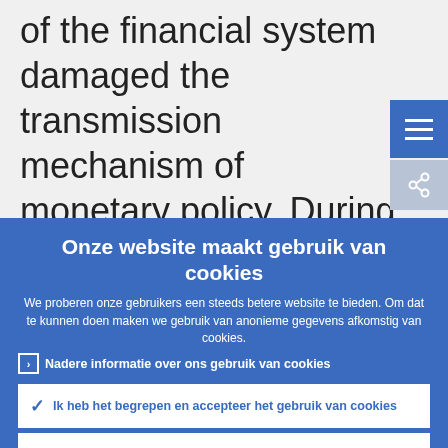of the financial system damaged the transmission mechanism of monetary policy. During these periods, short-term interest rates approached their “effective
Onze website maakt gebruik van cookies
We proberen onze gebruikers een steeds betere website te bieden. Om dat te kunnen doen maken we gebruik van anonieme gegevens afkomstig van cookies.
› Nadere informatie over ons gebruik van cookies
✓ Ik heb het begrepen en accepteer het gebruik van cookies
× Ik weiger cookies